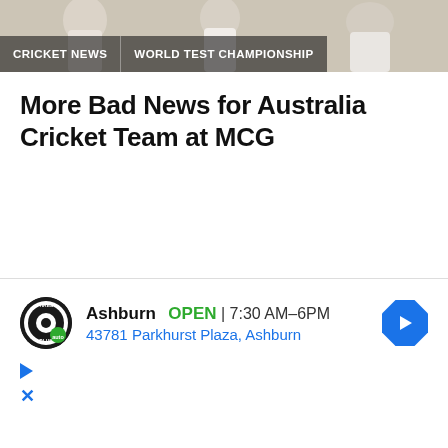[Figure (photo): Sports photo banner showing cricket players in white uniforms, with navigation bar overlaid at the bottom showing 'CRICKET NEWS' and 'WORLD TEST CHAMPIONSHIP' labels]
More Bad News for Australia Cricket Team at MCG
[Figure (infographic): Advertisement for Tires Plus Auto service. Shows logo, business name 'Ashburn', status 'OPEN', hours '7:30 AM–6PM', address '43781 Parkhurst Plaza, Ashburn', navigation arrow icon, play button, and close button.]